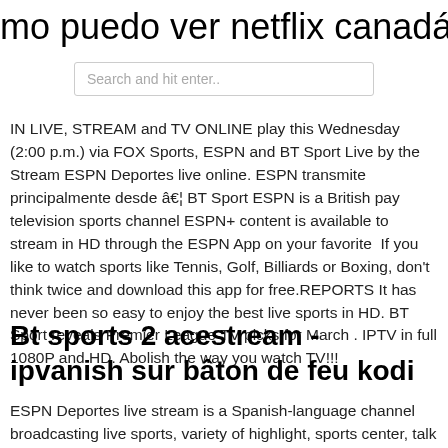mo puedo ver netflix canadá en noso
Search and hit enter..
IN LIVE, STREAM and TV ONLINE play this Wednesday (2:00 p.m.) via FOX Sports, ESPN and BT Sport Live by the  Stream ESPN Deportes live online. ESPN transmite principalmente desde â€¦ BT Sport ESPN is a British pay television sports channel ESPN+ content is available to stream in HD through the ESPN App on your favorite  If you like to watch sports like Tennis, Golf, Billiards or Boxing, don't think twice and download this app for free.REPORTS It has never been so easy to enjoy the best live sports in HD. BT Sport reveals Premier League TV picks for March . IPTV in full 1080P and HD. Abolish the way you watch TV!!!
Bt sports 2 acestream - ipvanish sur bâton de feu kodi
ESPN Deportes live stream is a Spanish-language channel broadcasting live sports, variety of highlight, sports center, talk and documentary shows related to sports. .. watch. Watch